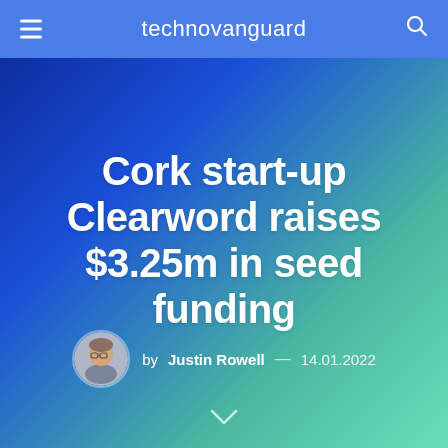technovanguard
Cork start-up Clearword raises $3.25m in seed funding
by Justin Rowell — 14.01.2022